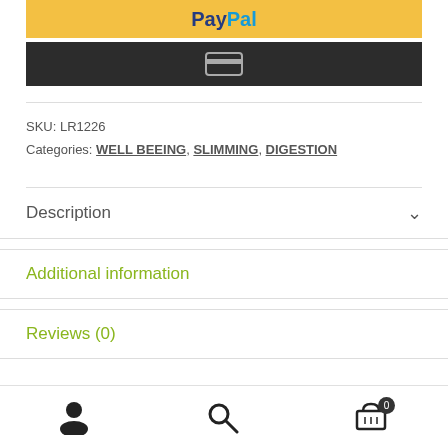[Figure (screenshot): PayPal payment button bar with yellow background]
[Figure (screenshot): Dark card payment button bar with card icon]
SKU: LR1226
Categories: WELL BEEING, SLIMMING, DIGESTION
Description
Additional information
Reviews (0)
[Figure (screenshot): Bottom navigation bar with user, search, and cart icons]